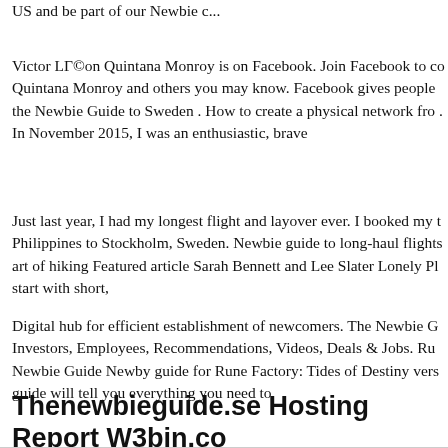US and be part of our Newbie c...
Victor LΓ©on Quintana Monroy is on Facebook. Join Facebook to co Quintana Monroy and others you may know. Facebook gives people the Newbie Guide to Sweden . How to create a physical network fro . In November 2015, I was an enthusiastic, brave
Just last year, I had my longest flight and layover ever. I booked my t Philippines to Stockholm, Sweden. Newbie guide to long-haul flights art of hiking Featured article Sarah Bennett and Lee Slater Lonely Pl start with short,
Digital hub for efficient establishment of newcomers. The Newbie G Investors, Employees, Recommendations, Videos, Deals & Jobs. Ru Newbie Guide Newby guide for Rune Factory: Tides of Destiny vers guide will tell you everything you need to
Thenewbieguide.se Hosting Report W3bin.co